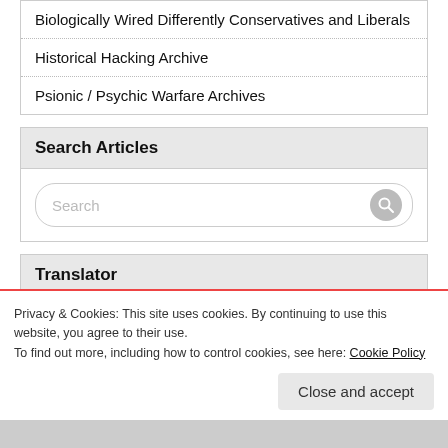Biologically Wired Differently Conservatives and Liberals
Historical Hacking Archive
Psionic / Psychic Warfare Archives
Search Articles
[Figure (screenshot): Search input bar with magnifying glass icon]
Translator
[Figure (screenshot): Select Language dropdown]
Privacy & Cookies: This site uses cookies. By continuing to use this website, you agree to their use.
To find out more, including how to control cookies, see here: Cookie Policy
Close and accept